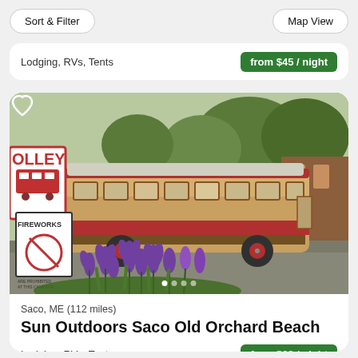Sort & Filter | Map View
Lodging, RVs, Tents  from $45 / night
[Figure (photo): A vintage red and cream trolley bus parked near purple iris flowers in bloom, with a red 'TROLLEY' sign and 'FIREWORKS prohibited' sign visible in the foreground at a campground.]
Saco, ME (112 miles)
Sun Outdoors Saco Old Orchard Beach
Lodging, RVs, Tents  from $62 / night